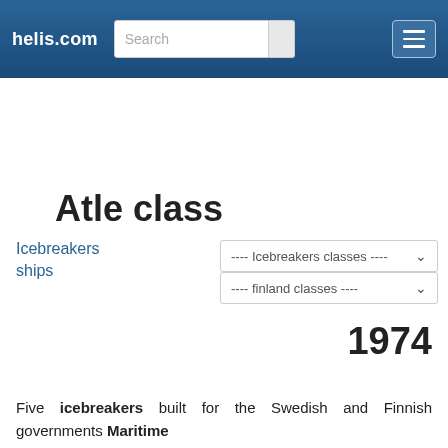helis.com
Atle class
Icebreakers
ships
---- Icebreakers classes ----
---- finland classes ----
1974
Five icebreakers built for the Swedish and Finnish governments Maritime